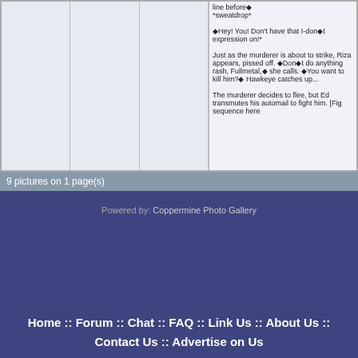[Figure (screenshot): Grid of manga/comic images - 3 empty image cells visible on the left, and a text column on the right describing a scene with a murderer and characters Fullmetal and Hawkeye]
line before♦ *sweatdrop* ♦Hey! You! Don't have that I-don♦t expression on!* Just as the murderer is about to strike, Riza appears, pissed off. ♦Don♦t do anything rash, Fullmetal,♦ she calls. ♦You want to kill him?♦ Hawkeye catches up. The murderer decides to flee, but Ed transmutes his automail to fight him. [Fig sequence here
9 pictures on 1 page(s)
Powered by: Coppermine Photo Gallery
Home :: Forum :: Chat :: FAQ :: Link Us :: About Us :: Contact Us :: Advertise on Us